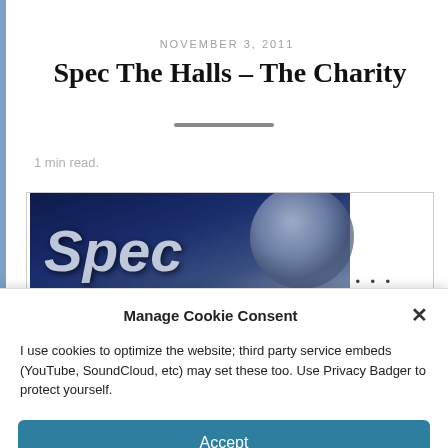NOVEMBER 3, 2011
Spec The Halls – The Charity
1 min read.
[Figure (logo): Spec logo with stylized italic text 'Spec' and a globe graphic on a dark blue background]
Manage Cookie Consent
I use cookies to optimize the website; third party service embeds (YouTube, SoundCloud, etc) may set these too. Use Privacy Badger to protect yourself.
Accept